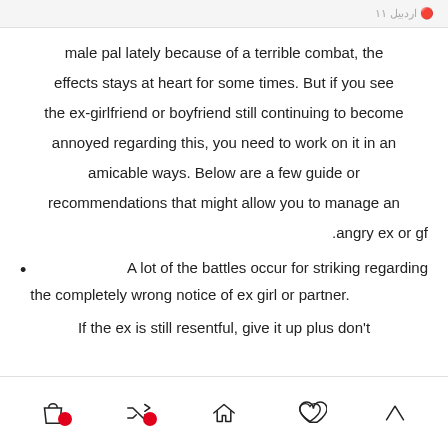اردبیل ۱۱
male pal lately because of a terrible combat, the effects stays at heart for some times. But if you see the ex-girlfriend or boyfriend still continuing to become annoyed regarding this, you need to work on it in an amicable ways. Below are a few guide or recommendations that might allow you to manage an angry ex or gf.
A lot of the battles occur for striking regarding the completely wrong notice of ex girl or partner.
If the ex is still resentful, give it up plus don't
navigation icons: bag, shuffle, home, heart, up-arrow